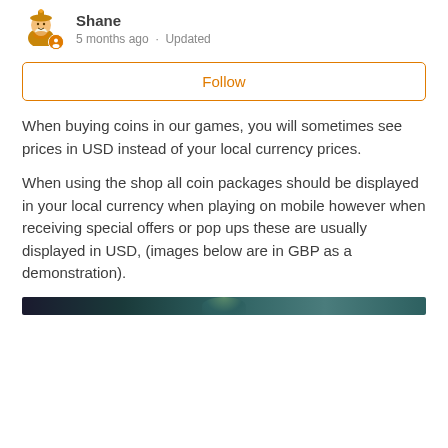Shane · 5 months ago · Updated
Follow
When buying coins in our games, you will sometimes see prices in USD instead of your local currency prices.

When using the shop all coin packages should be displayed in your local currency when playing on mobile however when receiving special offers or pop ups these are usually displayed in USD, (images below are in GBP as a demonstration).
[Figure (photo): Partial screenshot of a game shop interface, showing the top edge of an image with a dark teal/navy background and a character visible at center top.]